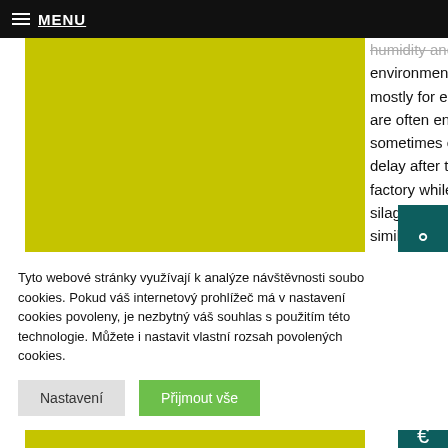MENU
[Figure (photo): Yellow/olive colored rectangular block, likely a photo of sugar beet pulp silage or agricultural material]
humidity and temperature of the environment. In agricultural practice, mostly for economic reasons, the SBP are often ensiled without additives and sometimes even with a substantial delay after their dispatch from the sugar factory while stored anaerobicaly in silage bags (Weber et al. 2006ab). In similar experiments with biological inoculants the researchers (Dolezal et al. 2005) found that such practice reduced losses significantly and
Tyto webové stránky využívají k analýze návštěvnosti souborů cookies. Pokud váš internetový prohlížeč má v nastavení cookies povoleny, je nezbytný váš souhlas s použitím této technologie. Můžete i nastavit vlastní rozsah povolených cookies.
Nastavení
Přijmout vše